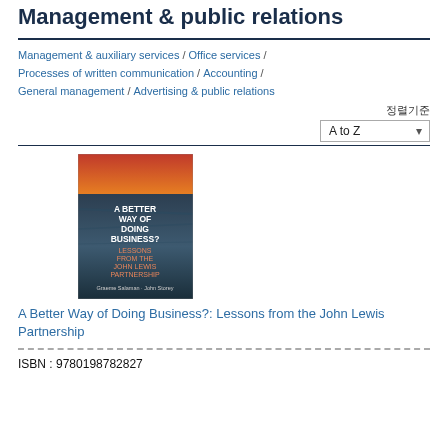Management & public relations
Management & auxiliary services / Office services / Processes of written communication / Accounting / General management / Advertising & public relations
정렬기준 A to Z
[Figure (photo): Book cover: A Better Way of Doing Business? Lessons from the John Lewis Partnership by Graeme Salaman and John Storey. Cover has orange/red top and dark blue/grey gradient bottom with white and orange text.]
A Better Way of Doing Business?: Lessons from the John Lewis Partnership
ISBN : 9780198782827